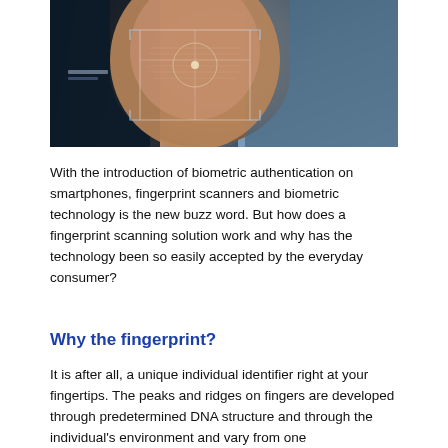[Figure (photo): A finger pressing against a glowing digital fingerprint scanner interface with blue background, showing biometric scanning technology.]
With the introduction of biometric authentication on smartphones, fingerprint scanners and biometric technology is the new buzz word. But how does a fingerprint scanning solution work and why has the technology been so easily accepted by the everyday consumer?
Why the fingerprint?
It is after all, a unique individual identifier right at your fingertips. The peaks and ridges on fingers are developed through predetermined DNA structure and through the individual's environment and vary from one